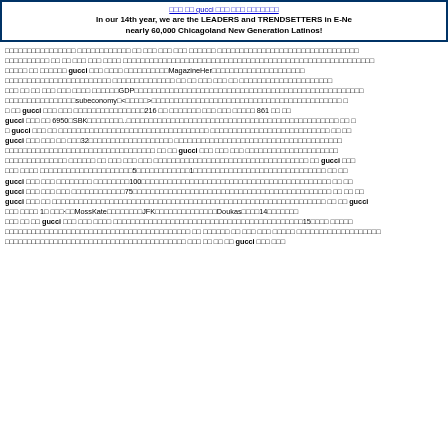gucci - In our 14th year, we are the LEADERS and TRENDSETTERS in E-News reaching nearly 60,000 Chicagoland New Generation Latinos!
Mixed Korean/CJK text with references to gucci, MagazineHer, GDP, subeconomy, 216, 861, 6950, SBK, gucci, 32, gucci, gucci, 5, 1, gucci, 100, gucci, 75, gucci, gucci, 1, MossKate, JFK, Doukas, 14, gucci, 15, gucci